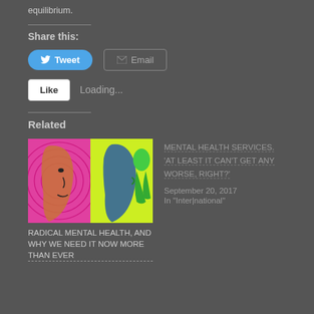equilibrium.
Share this:
[Figure (screenshot): Tweet and Email share buttons]
[Figure (screenshot): Like button with Loading... text]
Related
[Figure (illustration): Colorful pop-art style image of a human face, shown twice with different colors, and a green figure on the right. Related article thumbnail.]
RADICAL MENTAL HEALTH, AND WHY WE NEED IT NOW MORE THAN EVER
MENTAL HEALTH SERVICES. 'AT LEAST IT CAN'T GET ANY WORSE, RIGHT?'
September 20, 2017
In "International"